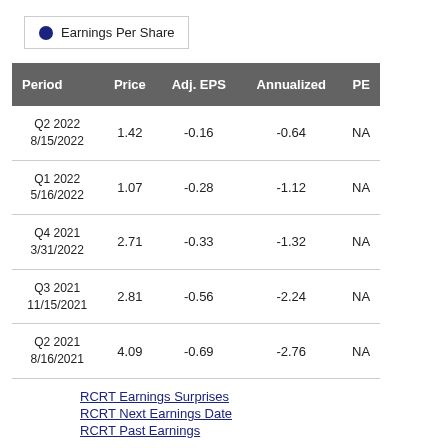[Figure (other): Legend box with blue circle and 'Earnings Per Share' label]
| Period | Price | Adj. EPS | Annualized | PE |
| --- | --- | --- | --- | --- |
| Q2 2022
8/15/2022 | 1.42 | -0.16 | -0.64 | NA |
| Q1 2022
5/16/2022 | 1.07 | -0.28 | -1.12 | NA |
| Q4 2021
3/31/2022 | 2.71 | -0.33 | -1.32 | NA |
| Q3 2021
11/15/2021 | 2.81 | -0.56 | -2.24 | NA |
| Q2 2021
8/16/2021 | 4.09 | -0.69 | -2.76 | NA |
RCRT Earnings Surprises
RCRT Next Earnings Date
RCRT Past Earnings